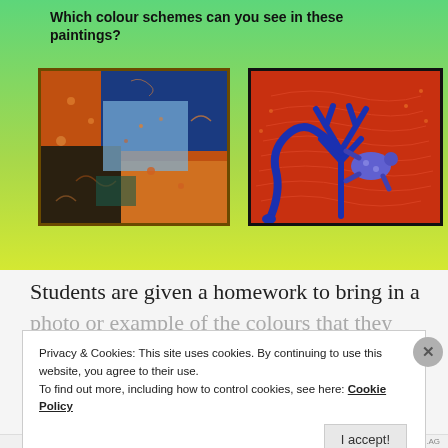Which colour schemes can you see in these paintings?
[Figure (photo): Two paintings side by side on a green-to-yellow gradient background. Left painting: abstract with orange, blue, and dark patches with swirling marks. Right painting: Indigenous-style art with blue figures (snake, lizard/turtle, tree) on red dotted background.]
Students are given a homework to bring in a
Privacy & Cookies: This site uses cookies. By continuing to use this website, you agree to their use.
To find out more, including how to control cookies, see here: Cookie Policy